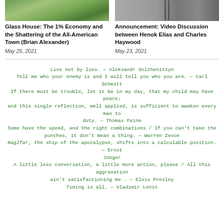[Figure (photo): Aerial or landscape photo of a garden/golf course area with greenery and structures]
Glass House: The 1% Economy and the Shattering of the All-American Town (Brian Alexander)
May 25, 2021
[Figure (photo): Partial image with vertical bars or abstract graphic]
Announcement: Video Discussion between Henok Elias and Charles Haywood
May 23, 2021
Live not by lies. — Aleksandr Solzhenitsyn
Tell me who your enemy is and I will tell you who you are. — Carl Schmitt
If there must be trouble, let it be in my day, that my child may have peace; and this single reflection, well applied, is sufficient to awaken every man to duty. — Thomas Paine
Some have the speed, and the right combinations / If you can't take the punches, it don't mean a thing. — Warren Zevon
Naglfar, the ship of the apocalypse, shifts into a calculable position. — Ernst Jünger
A little less conversation, a little more action, please / All this aggravation ain't satisfactioning me . — Elvis Presley
Timing is all. — Vladimir Lenin